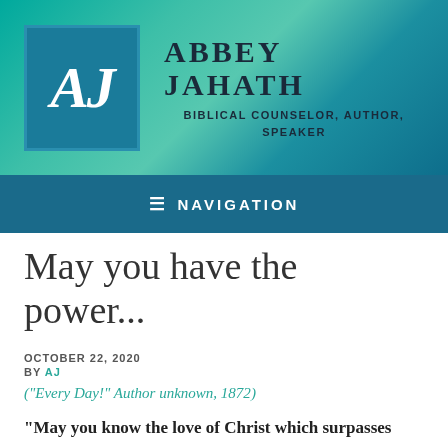[Figure (logo): Abbey Jahath website header banner with teal gradient background, AJ logo in dark teal box, and site name 'ABBEY JAHATH' with subtitle 'BIBLICAL COUNSELOR, AUTHOR, SPEAKER']
≡ NAVIGATION
May you have the power...
OCTOBER 22, 2020
BY AJ
("Every Day!" Author unknown, 1872)
"May you know the love of Christ which surpasses